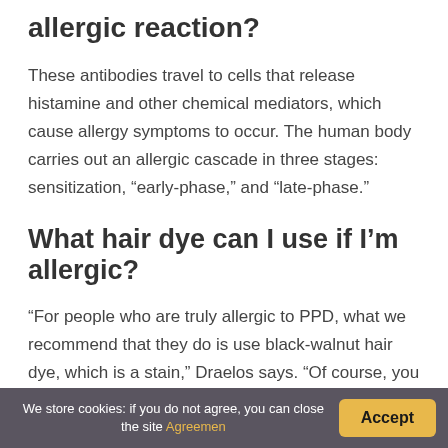allergic reaction?
These antibodies travel to cells that release histamine and other chemical mediators, which cause allergy symptoms to occur. The human body carries out an allergic cascade in three stages: sensitization, “early-phase,” and “late-phase.”
What hair dye can I use if I’m allergic?
“For people who are truly allergic to PPD, what we recommend that they do is use black-walnut hair dye, which is a stain,” Draelos says. “Of course, you can only go darker.” For those who’d rather be redheads
We store cookies: if you do not agree, you can close the site Agreemen